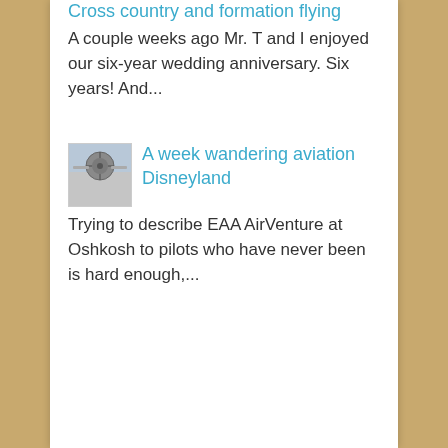Cross country and formation flying
A couple weeks ago Mr. T and I enjoyed our six-year wedding anniversary. Six years! And...
[Figure (photo): Small thumbnail image of an aircraft, likely showing the nose or propeller area]
A week wandering aviation Disneyland
Trying to describe EAA AirVenture at Oshkosh to pilots who have never been is hard enough,...